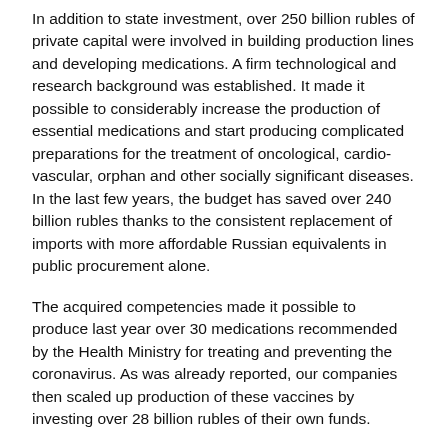In addition to state investment, over 250 billion rubles of private capital were involved in building production lines and developing medications. A firm technological and research background was established. It made it possible to considerably increase the production of essential medications and start producing complicated preparations for the treatment of oncological, cardio-vascular, orphan and other socially significant diseases. In the last few years, the budget has saved over 240 billion rubles thanks to the consistent replacement of imports with more affordable Russian equivalents in public procurement alone.
The acquired competencies made it possible to produce last year over 30 medications recommended by the Health Ministry for treating and preventing the coronavirus. As was already reported, our companies then scaled up production of these vaccines by investing over 28 billion rubles of their own funds.